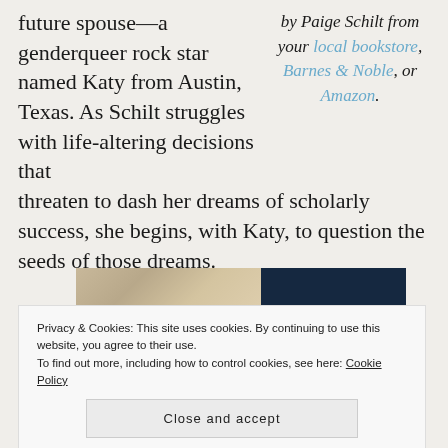future spouse—a genderqueer rock star named Katy from Austin, Texas. As Schilt struggles with life-altering decisions that threaten to dash her dreams of scholarly success, she begins, with Katy, to question the seeds of those dreams.
by Paige Schilt from your local bookstore, Barnes & Noble, or Amazon.
[Figure (photo): Partial photo showing hands and a dark navy/blue background panel]
Privacy & Cookies: This site uses cookies. By continuing to use this website, you agree to their use.
To find out more, including how to control cookies, see here: Cookie Policy
Close and accept